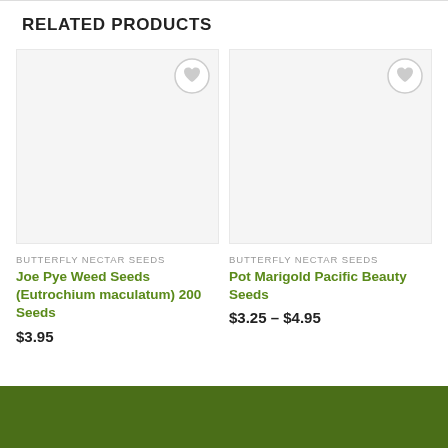RELATED PRODUCTS
[Figure (other): Product card image area for Joe Pye Weed Seeds (blank/white product image placeholder) with heart wishlist button]
BUTTERFLY NECTAR SEEDS
Joe Pye Weed Seeds (Eutrochium maculatum) 200 Seeds
$3.95
[Figure (other): Product card image area for Pot Marigold Pacific Beauty Seeds (blank/white product image placeholder) with heart wishlist button]
BUTTERFLY NECTAR SEEDS
Pot Marigold Pacific Beauty Seeds
$3.25 – $4.95